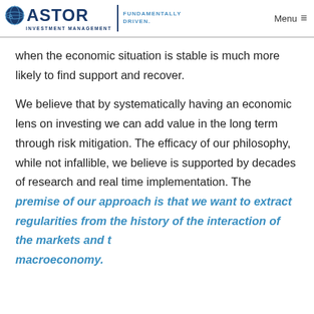ASTOR INVESTMENT MANAGEMENT | FUNDAMENTALLY DRIVEN. | Menu
when the economic situation is stable is much more likely to find support and recover.
We believe that by systematically having an economic lens on investing we can add value in the long term through risk mitigation. The efficacy of our philosophy, while not infallible, we believe is supported by decades of research and real time implementation. The premise of our approach is that we want to extract regularities from the history of the interaction of the markets and the macroeconomy.